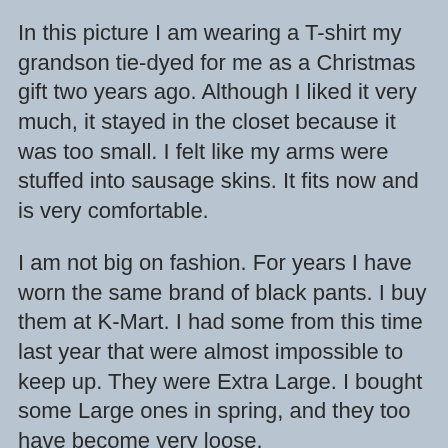In this picture I am wearing a T-shirt my grandson tie-dyed for me as a Christmas gift two years ago. Although I liked it very much, it stayed in the closet because it was too small. I felt like my arms were stuffed into sausage skins. It fits now and is very comfortable.
I am not big on fashion. For years I have worn the same brand of black pants. I buy them at K-Mart. I had some from this time last year that were almost impossible to keep up. They were Extra Large. I bought some Large ones in spring, and they too have become very loose.
Last week I ordered several pair from K-Mart online, and bravely selected Medium size. After ordering them I told Craig I wondered if they would fit. I expected to have to return them.